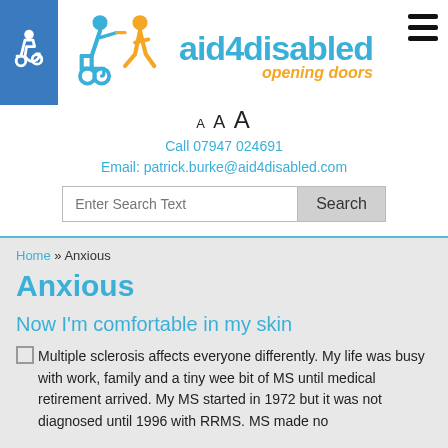[Figure (logo): aid4disabled logo with wheelchair user and walking person icons, text 'aid4disabled opening doors']
A A A
Call 07947 024691
Email: patrick.burke@aid4disabled.com
Enter Search Text  Search
Home » Anxious
Anxious
Now I'm comfortable in my skin
Multiple sclerosis affects everyone differently. My life was busy with work, family and a tiny wee bit of MS until medical retirement arrived. My MS started in 1972 but it was not diagnosed until 1996 with RRMS. MS made no...